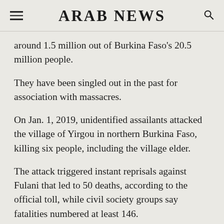ARAB NEWS
around 1.5 million out of Burkina Faso's 20.5 million people.
They have been singled out in the past for association with massacres.
On Jan. 1, 2019, unidentified assailants attacked the village of Yirgou in northern Burkina Faso, killing six people, including the village elder.
The attack triggered instant reprisals against Fulani that led to 50 deaths, according to the official toll, while civil society groups say fatalities numbered at least 146.